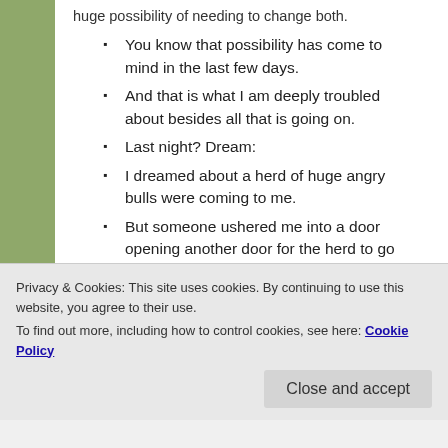huge possibility of needing to change both.
You know that possibility has come to mind in the last few days.
And that is what I am deeply troubled about besides all that is going on.
Last night? Dream:
I dreamed about a herd of huge angry bulls were coming to me.
But someone ushered me into a door opening another door for the herd to go in.
I sat in that room for a bit.
But then I wanted to peep into the room with the herd of bulls.
I climb to a high window in the room and?
Privacy & Cookies: This site uses cookies. By continuing to use this website, you agree to their use. To find out more, including how to control cookies, see here: Cookie Policy
Close and accept